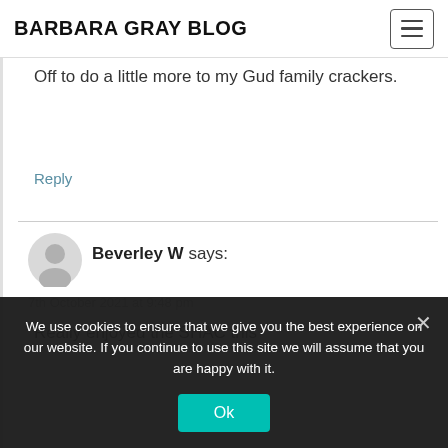BARBARA GRAY BLOG
Off to do a little more to my Gud family crackers.
Reply
Beverley W says:
7th October 2021 at 9:48 pm
Really enjoyed the SHAC this
We use cookies to ensure that we give you the best experience on our website. If you continue to use this site we will assume that you are happy with it.
Ok